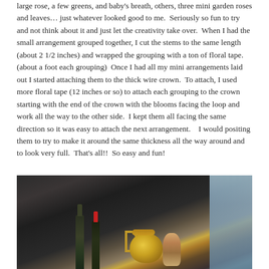large rose, a few greens, and baby's breath, others, three mini garden roses and leaves… just whatever looked good to me.  Seriously so fun to try and not think about it and just let the creativity take over.  When I had the small arrangement grouped together, I cut the stems to the same length (about 2 1/2 inches) and wrapped the grouping with a ton of floral tape. (about a foot each grouping)  Once I had all my mini arrangements laid out I started attaching them to the thick wire crown.  To attach, I used more floral tape (12 inches or so) to attach each grouping to the crown starting with the end of the crown with the blooms facing the loop and work all the way to the other side.  I kept them all facing the same direction so it was easy to attach the next arrangement.    I would positing them to try to make it around the same thickness all the way around and to look very full.  That's all!!  So easy and fun!
[Figure (photo): A blurry indoor photo showing bottles of alcohol, a gold/brass teapot or kettle with a handle and lid, decorative figurines, and a blue curtain or window in the background. The image is dimly lit with warm golden tones from the teapot contrasting with dark shadows and a blue-tinted right side.]